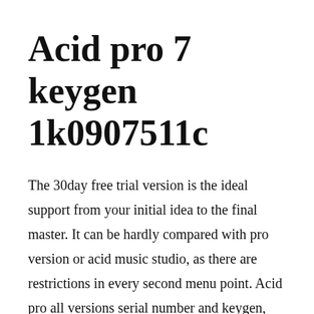Acid pro 7 keygen 1k0907511c
The 30day free trial version is the ideal support from your initial idea to the final master. It can be hardly compared with pro version or acid music studio, as there are restrictions in every second menu point. Acid pro all versions serial number and keygen, acid pro serial number, acid pro keygen, acid